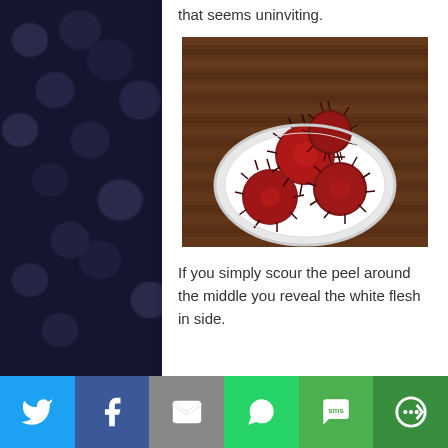that seems uninviting.
[Figure (photo): A white plate with several rambutan fruits (red, spiky) on a wooden surface background]
If you simply scour the peel around the middle you reveal the white flesh in side.
Social sharing bar with Twitter, Facebook, Email, WhatsApp, SMS, and Share icons